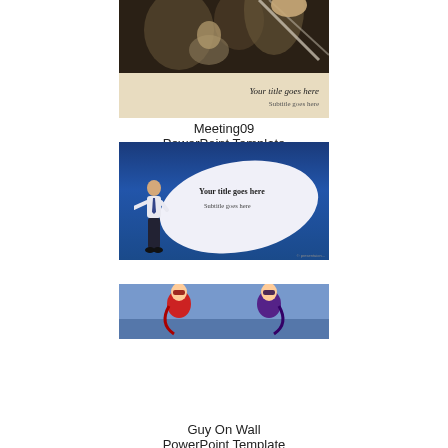[Figure (screenshot): Meeting09 PowerPoint template thumbnail showing a business meeting photo with tan/beige lower bar and text 'Your title goes here' and 'Subtitle goes here']
Meeting09
PowerPoint Template
Enlarge
[Figure (screenshot): Guy On Wall PowerPoint template thumbnail showing a man standing by a large white oval on a blue background with text 'Your title goes here' and 'Subtitle goes here']
Guy On Wall
PowerPoint Template
Enlarge
[Figure (screenshot): Cartoon superhero PowerPoint template thumbnail showing two costumed characters on a blue background]